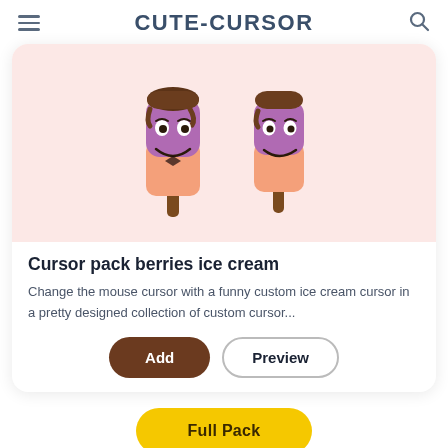CUTE-CURSOR
[Figure (illustration): Two cartoon berry ice cream popsicle characters with chocolate tops, smiling faces, on a light pink background]
Cursor pack berries ice cream
Change the mouse cursor with a funny custom ice cream cursor in a pretty designed collection of custom cursor...
Add | Preview
Full Pack